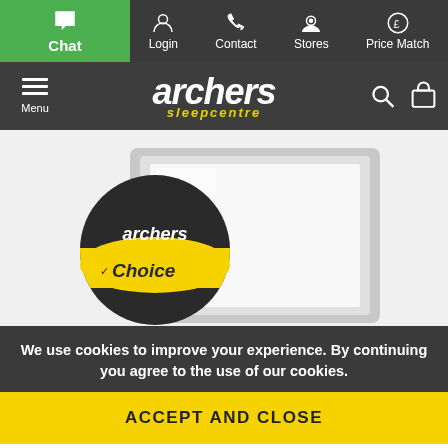Chat | Login | Contact | Stores | Price Match
[Figure (logo): Archers Sleepcentre logo with menu, search and basket icons]
[Figure (photo): Product image of a white-framed mirror with Archers Choice badge overlay]
We use cookies to improve your experience. By continuing you agree to the use of our cookies.
ACCEPT AND CLOSE